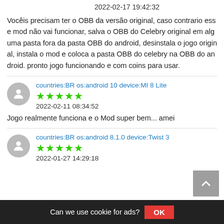2022-02-17 19:42:32
Vocêis precisam ter o OBB da versão original, caso contrario esse mod não vai funcionar, salva o OBB do Celebry original em alguma pasta fora da pasta OBB do android, desinstala o jogo original, instala o mod e coloca a pasta OBB do celebry na OBB do android. pronto jogo funcionando e com coins para usar.
countries:BR os:android 10 device:MI 8 Lite
★★★★★
2022-02-11 08:34:52
Jogo realmente funciona e o Mod super bem... amei
countries:BR os:android 8.1.0 device:Twist 3
★★★★★
2022-01-27 14:29:18
Can we use cookie for ads?